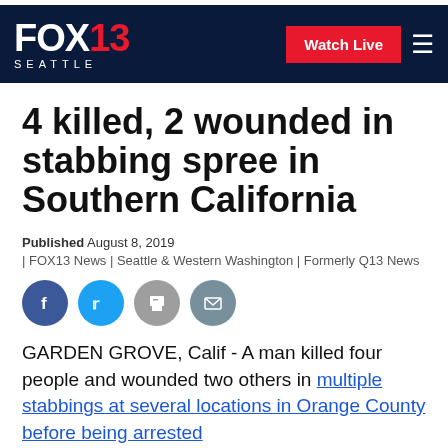FOX13 SEATTLE — Watch Live
4 killed, 2 wounded in stabbing spree in Southern California
Published August 8, 2019 | FOX13 News | Seattle & Western Washington | Formerly Q13 News
[Figure (other): Social share icons: Facebook, Twitter, Print, Email]
GARDEN GROVE, Calif - A man killed four people and wounded two others in multiple stabbings at several locations in Orange County before being arrested